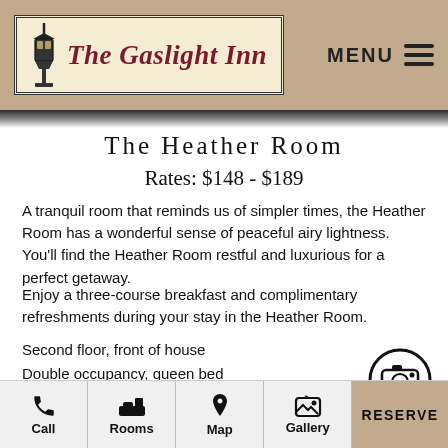[Figure (logo): The Gaslight Inn logo with lantern icon, dark red cursive text on cream background with double border]
MENU
The Heather Room
Rates: $148 - $189
A tranquil room that reminds us of simpler times, the Heather Room has a wonderful sense of peaceful airy lightness. You'll find the Heather Room restful and luxurious for a perfect getaway.
Enjoy a three-course breakfast and complimentary refreshments during your stay in the Heather Room.
Second floor, front of house
Double occupancy, queen bed
Room size is 13.5' x 14' plus bath
*Two-night stay minimum on event weekends
Call  Rooms  Map  Gallery  RESERVE